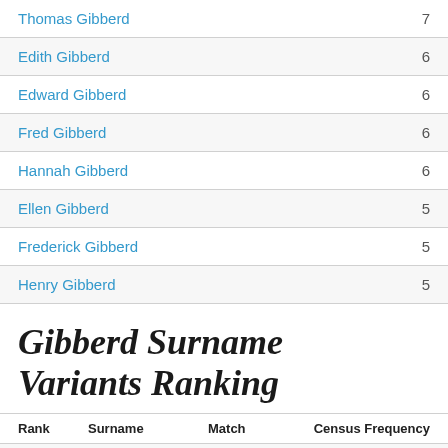Thomas Gibberd 7
Edith Gibberd 6
Edward Gibberd 6
Fred Gibberd 6
Hannah Gibberd 6
Ellen Gibberd 5
Frederick Gibberd 5
Henry Gibberd 5
Gibberd Surname Variants Ranking
| Rank | Surname | Match | Census Frequency |
| --- | --- | --- | --- |
| 1 | Gibberd | 86% | 5,812 |